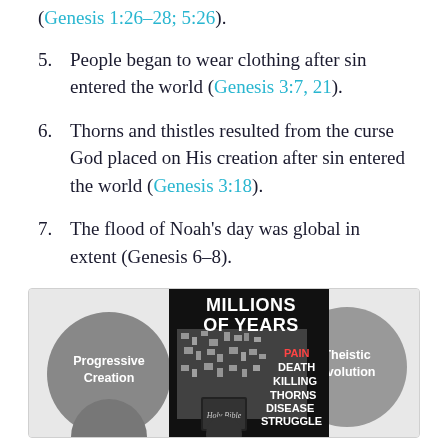(Genesis 1:26–28; 5:26).
5. People began to wear clothing after sin entered the world (Genesis 3:7, 21).
6. Thorns and thistles resulted from the curse God placed on His creation after sin entered the world (Genesis 3:18).
7. The flood of Noah's day was global in extent (Genesis 6–8).
[Figure (infographic): Infographic showing 'MILLIONS OF YEARS' text with gray circles labeled 'Progressive Creation' and 'Theistic Evolution', a black circle center with a Holy Bible, and words PAIN, DEATH, KILLING, THORNS, DISEASE, STRUGGLE overlaid on an explosion graphic.]